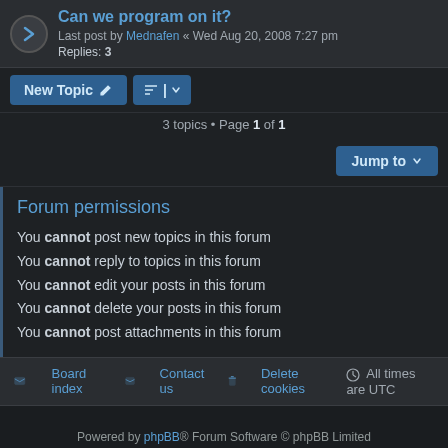Can we program on it?
Last post by Mednafen « Wed Aug 20, 2008 7:27 pm
Replies: 3
New Topic | Sort | 3 topics • Page 1 of 1
Jump to
Forum permissions
You cannot post new topics in this forum
You cannot reply to topics in this forum
You cannot edit your posts in this forum
You cannot delete your posts in this forum
You cannot post attachments in this forum
Board index | Contact us | Delete cookies | All times are UTC
Powered by phpBB® Forum Software © phpBB Limited
Style by Arty - phpBB 3.3 by MrGaby
Privacy | Terms